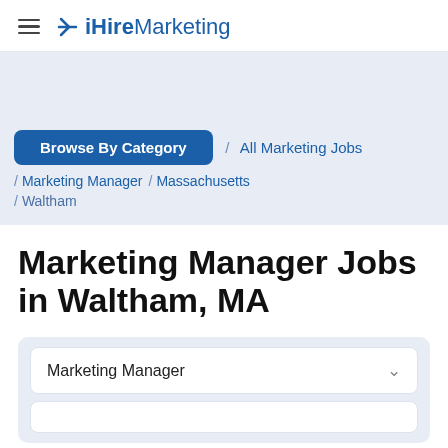iHireMarketing
[Figure (screenshot): Gray band area below header, empty space]
Browse By Category / All Marketing Jobs / Marketing Manager / Massachusetts / Waltham
Marketing Manager Jobs in Waltham, MA
Marketing Manager (dropdown)